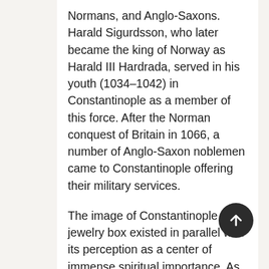Normans, and Anglo-Saxons. Harald Sigurdsson, who later became the king of Norway as Harald III Hardrada, served in his youth (1034–1042) in Constantinople as a member of this force. After the Norman conquest of Britain in 1066, a number of Anglo-Saxon noblemen came to Constantinople offering their military services.
The image of Constantinople as a jewelry box existed in parallel with its perception as a center of immense spiritual importance. As discussed above, it had over the years collected a variety of holy relics. This was of the most enduring images of Constantinople in the monastic and clerical